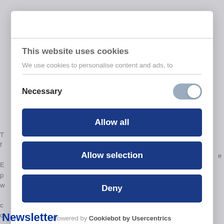This website uses cookies
We use cookies to personalise content and ads, to
Necessary
Allow all
Allow selection
Deny
Powered by Cookiebot by Usercentrics
Newsletter